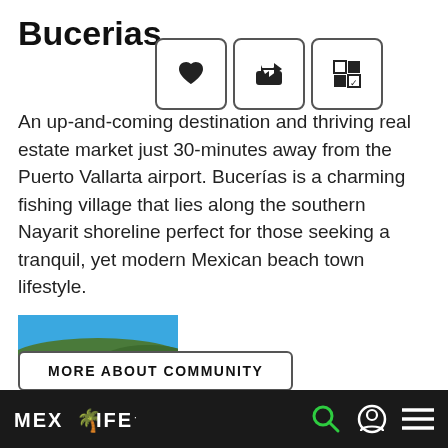Bucerias
[Figure (screenshot): Three UI action buttons with heart, share arrow, and grid/share icons overlaid on the page]
An up-and-coming destination and thriving real estate market just 30-minutes away from the Puerto Vallarta airport. Bucerías is a charming fishing village that lies along the southern Nayarit shoreline perfect for those seeking a tranquil, yet modern Mexican beach town lifestyle.
[Figure (photo): Aerial photo of Bucerias coastal town showing turquoise water, sandy beach, and dense town with green hills in background under blue sky.]
MORE ABOUT COMMUNITY
MEXLIFE logo with palm tree icon, search icon, user icon, menu icon